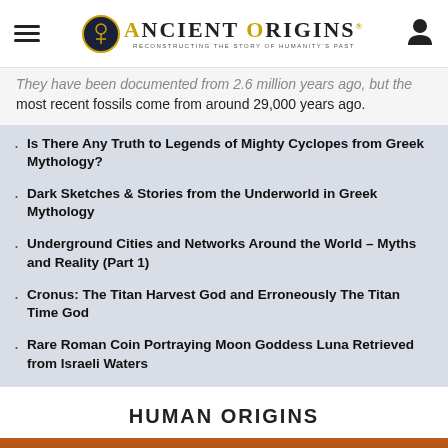Ancient Origins — Reconstructing the Story of Humanity's Past
They have been documented from 2.6 million years ago, but the most recent fossils come from around 29,000 years ago.
Is There Any Truth to Legends of Mighty Cyclopes from Greek Mythology?
Dark Sketches & Stories from the Underworld in Greek Mythology
Underground Cities and Networks Around the World – Myths and Reality (Part 1)
Cronus: The Titan Harvest God and Erroneously The Titan Time God
Rare Roman Coin Portraying Moon Goddess Luna Retrieved from Israeli Waters
HUMAN ORIGINS
[Figure (photo): Partial view of an ancient reddish-brown artifact or fossil at the bottom of the page]